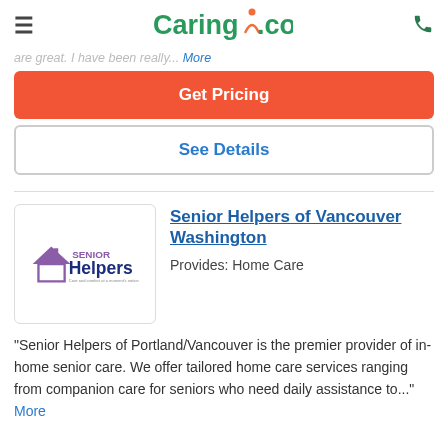Caring.com
are great. I have been really... More
Get Pricing
See Details
Senior Helpers of Vancouver Washington
Provides: Home Care
"Senior Helpers of Portland/Vancouver is the premier provider of in-home senior care. We offer tailored home care services ranging from companion care for seniors who need daily assistance to..." More
[Figure (logo): Senior Helpers logo with house icon, text 'SENIOR Helpers' in purple/dark blue, tagline 'Care and comfort at a moment's notice.']